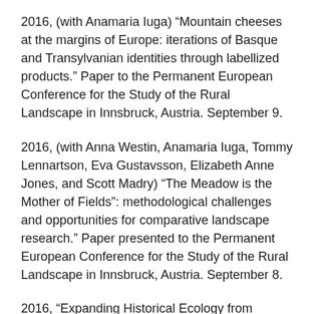2016, (with Anamaria Iuga) “Mountain cheeses at the margins of Europe: iterations of Basque and Transylvanian identities through labellized products.” Paper to the Permanent European Conference for the Study of the Rural Landscape in Innsbruck, Austria. September 9.
2016, (with Anna Westin, Anamaria Iuga, Tommy Lennartson, Eva Gustavsson, Elizabeth Anne Jones, and Scott Madry) “The Meadow is the Mother of Fields”: methodological challenges and opportunities for comparative landscape research.” Paper presented to the Permanent European Conference for the Study of the Rural Landscape in Innsbruck, Austria. September 8.
2016, “Expanding Historical Ecology from Interdisciplinary to Transdisciplinary Objectives.” Paper presented to the Society for American Archaeology in Orlando, FL. April 7.